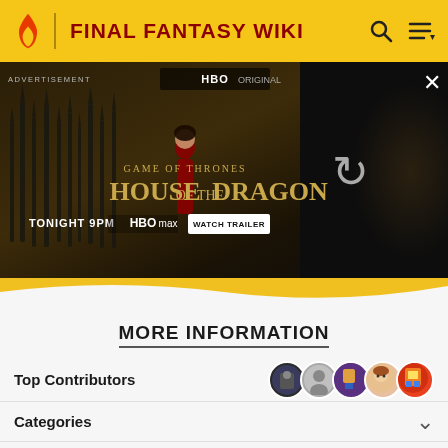FINAL FANTASY WIKI
[Figure (screenshot): Advertisement banner for HBO's House of the Dragon: Game of Thrones. Shows a woman in red standing among iron spikes with a dragon in the background. Text reads: 'GAME OF THRONES, HOUSE OF THE DRAGON, TONIGHT 9PM, HBOmax, WATCH TRAILER'. An HBO ORIGINAL badge is visible. A loading/refresh icon appears on the right side. An X close button is in the top right.]
MORE INFORMATION
Top Contributors
Categories
Community content is available under CC-BY-SA unless otherwise noted.